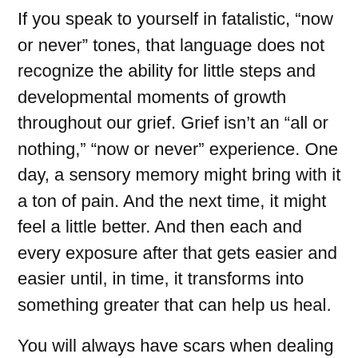If you speak to yourself in fatalistic, “now or never” tones, that language does not recognize the ability for little steps and developmental moments of growth throughout our grief. Grief isn’t an “all or nothing,” “now or never” experience. One day, a sensory memory might bring with it a ton of pain. And the next time, it might feel a little better. And then each and every exposure after that gets easier and easier until, in time, it transforms into something greater that can help us heal.
You will always have scars when dealing with a traumatic loss; but with time, what feels like a weapon against our soul can transform into a